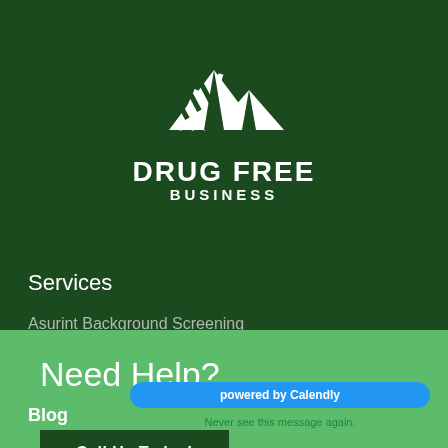[Figure (logo): Drug Free Business logo with mountain/peak icon above the text DRUG FREE BUSINESS on dark green background]
Services
Asurint Background Screening
Need Help?
Call Us Today!
Blog
powered by Calendly
Never see this message again.